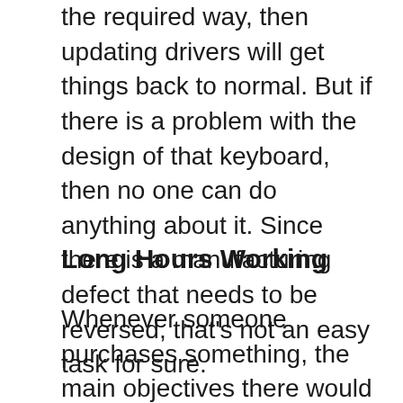the required way, then updating drivers will get things back to normal. But if there is a problem with the design of that keyboard, then no one can do anything about it. Since there is a manufacturing defect that needs to be reversed, that's not an easy task for sure.
Long Hours Working
Whenever someone purchases something, the main objectives there would be to make things